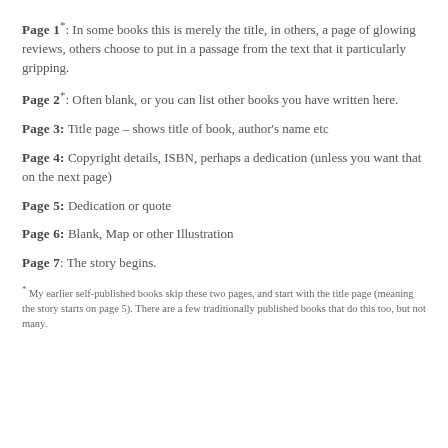Page 1*: In some books this is merely the title, in others, a page of glowing reviews, others choose to put in a passage from the text that it particularly gripping.
Page 2*: Often blank, or you can list other books you have written here.
Page 3: Title page – shows title of book, author's name etc
Page 4: Copyright details, ISBN, perhaps a dedication (unless you want that on the next page)
Page 5: Dedication or quote
Page 6: Blank, Map or other Illustration
Page 7: The story begins.
* My earlier self-published books skip these two pages, and start with the title page (meaning the story starts on page 5). There are a few traditionally published books that do this too, but not many.